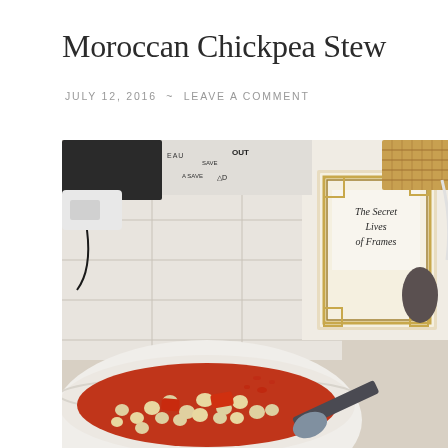Moroccan Chickpea Stew
JULY 12, 2016 ~ LEAVE A COMMENT
[Figure (photo): A white bowl filled with Moroccan chickpea stew (chickpeas in red tomato sauce) with a spoon, placed on a white tiled surface next to a book titled 'The Secret Lives of Frames' and a black and white patterned bag.]